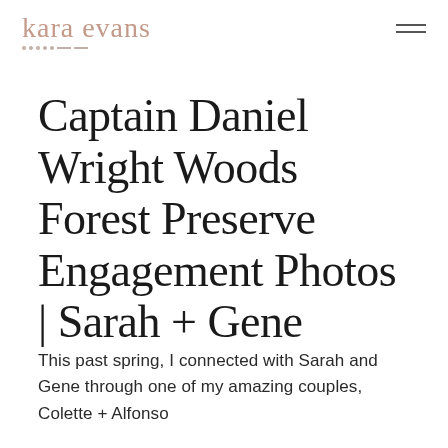kara evans
Captain Daniel Wright Woods Forest Preserve Engagement Photos | Sarah + Gene
This past spring, I connected with Sarah and Gene through one of my amazing couples, Colette + Alfonso (and their amazing disc jockey business…)